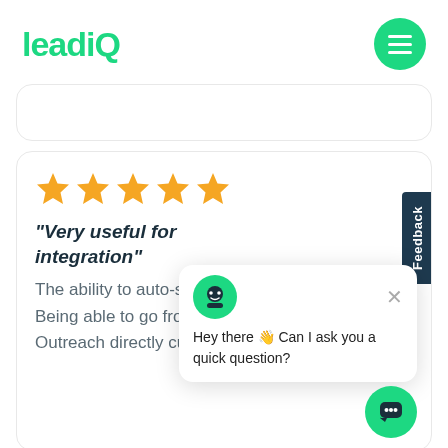[Figure (logo): LeadiQ logo in green text with menu hamburger button]
"Very useful for integration"
The ability to auto-sequence people. Being able to go from LinkedIn to Outreach directly cuts so much out of
Hey there 👋 Can I ask you a quick question?